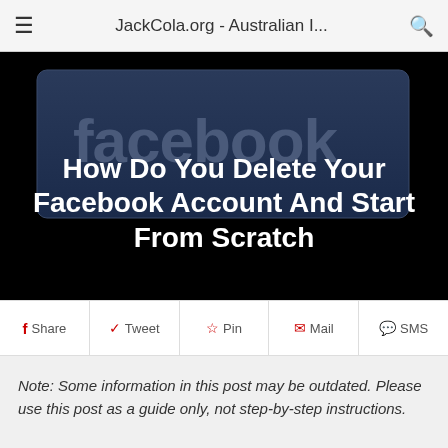JackCola.org - Australian I...
[Figure (screenshot): Facebook logo banner image with dark blue gradient background and large 'facebook' text in grey]
How Do You Delete Your Facebook Account And Start From Scratch
Share  Tweet  Pin  Mail  SMS
Note: Some information in this post may be outdated. Please use this post as a guide only, not step-by-step instructions.